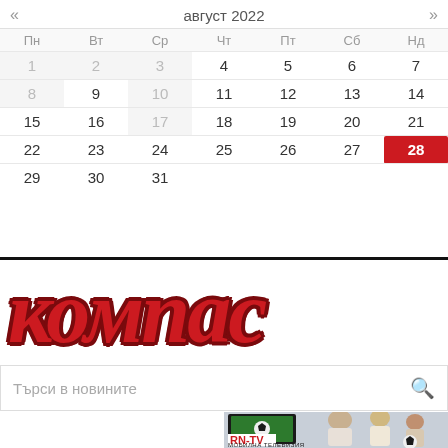| Пн | Вт | Ср | Чт | Пт | Сб | Нд |
| --- | --- | --- | --- | --- | --- | --- |
| 1 | 2 | 3 | 4 | 5 | 6 | 7 |
| 8 | 9 | 10 | 11 | 12 | 13 | 14 |
| 15 | 16 | 17 | 18 | 19 | 20 | 21 |
| 22 | 23 | 24 | 25 | 26 | 27 | 28 |
| 29 | 30 | 31 |  |  |  |  |
[Figure (logo): КОМПАС newspaper logo in red bold italic letters]
Търси в новините
[Figure (photo): RN-TV advertisement showing a TV with football and family watching sports, with text RN-TV МОБИЛНА ТЕЛЕВИЗИЯ]